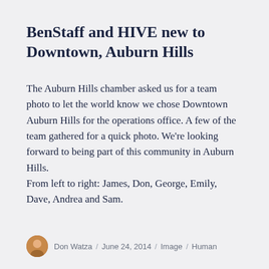BenStaff and HIVE new to Downtown, Auburn Hills
The Auburn Hills chamber asked us for a team photo to let the world know we chose Downtown Auburn Hills for the operations office. A few of the team gathered for a quick photo. We’re looking forward to being part of this community in Auburn Hills.
From left to right: James, Don, George, Emily, Dave, Andrea and Sam.
Don Watza / June 24, 2014 / Image / Human